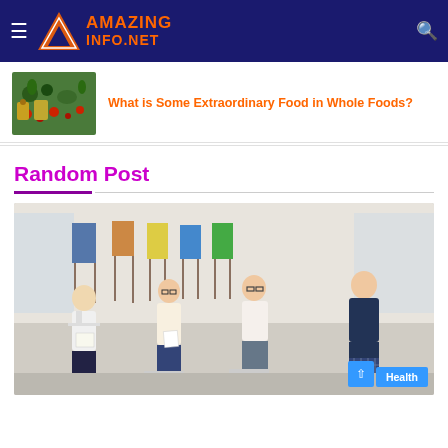AmazingInfo.Net
[Figure (photo): Thumbnail image of colorful vegetables and herbs on a dark surface for Whole Foods article]
What is Some Extraordinary Food in Whole Foods?
Random Post
[Figure (photo): Photo of four Asian students sitting in chairs in an art classroom with paintings on easels in the background, with a Health badge overlay]